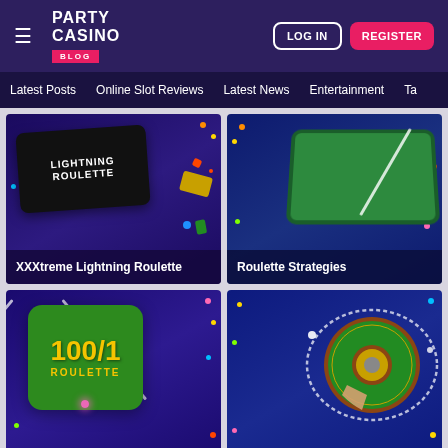Party Casino Blog | LOG IN | REGISTER
Latest Posts | Online Slot Reviews | Latest News | Entertainment | Ta...
[Figure (screenshot): XXXtreme Lightning Roulette casino game card with dark purple background and Lightning Roulette logo]
XXXtreme Lightning Roulette
[Figure (screenshot): Roulette Strategies casino game card with dark blue background and green casino table]
Roulette Strategies
[Figure (screenshot): 100/1 Roulette casino game card with dark purple background and green 100/1 Roulette logo]
[Figure (screenshot): Roulette wheel casino game card with dark blue background and roulette wheel image]